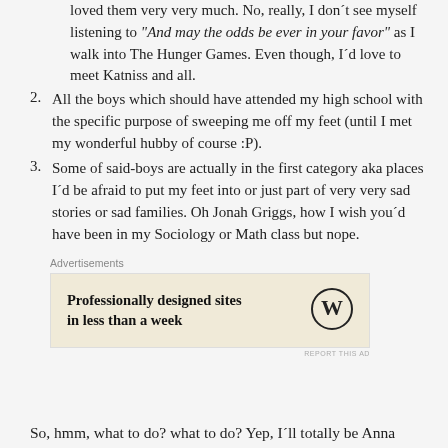(continuation) loved them very very much. No, really, I don't see myself listening to "And may the odds be ever in your favor" as I walk into The Hunger Games. Even though, I'd love to meet Katniss and all.
2. All the boys which should have attended my high school with the specific purpose of sweeping me off my feet (until I met my wonderful hubby of course :P).
3. Some of said-boys are actually in the first category aka places I'd be afraid to put my feet into or just part of very very sad stories or sad families. Oh Jonah Griggs, how I wish you'd have been in my Sociology or Math class but nope.
Advertisements
[Figure (other): WordPress advertisement banner: 'Professionally designed sites in less than a week' with WordPress logo]
So, hmm, what to do? what to do? Yep, I'll totally be Anna